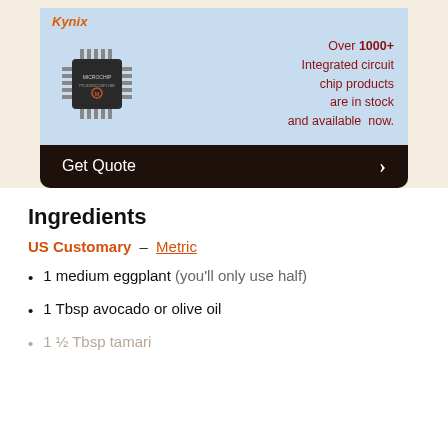[Figure (infographic): Kynix advertisement banner on light beige background showing a Microchip integrated circuit chip, Kynix logo in orange italic, text reading 'Over 1000+ Integrated circuit chip products are in stock and available now.' in dark red, with a 'Get Quote' dark button bar below.]
Ingredients
US Customary – Metric
1 medium eggplant (you'll only use half)
1 Tbsp avocado or olive oil
1 ½ Tbsp tamari